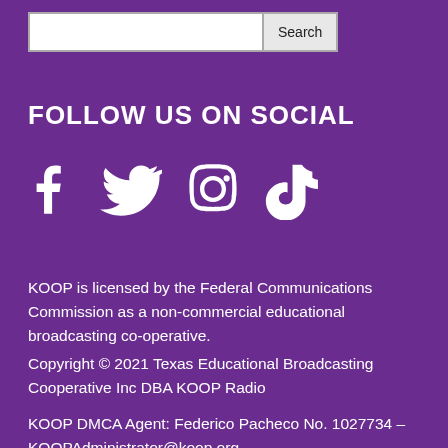[Figure (screenshot): Search bar with text input field and Search button]
FOLLOW US ON SOCIAL
[Figure (infographic): Social media icons: Facebook, Twitter, Instagram, TikTok]
KOOP is licensed by the Federal Communications Commission as a non-commercial educational broadcasting co-operative.
Copyright © 2021 Texas Educational Broadcasting Cooperative Inc DBA KOOP Radio
KOOP DMCA Agent: Federico Pacheco No. 1027734 – KOOPAdministrator@koop.org